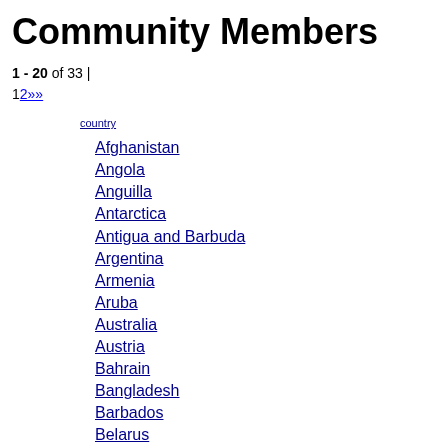Community Members
1 - 20 of 33 | 12»»
country
Afghanistan
Angola
Anguilla
Antarctica
Antigua and Barbuda
Argentina
Armenia
Aruba
Australia
Austria
Bahrain
Bangladesh
Barbados
Belarus
Belgium
Belize